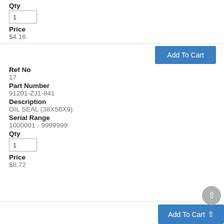Qty
1
Price
$4.16
Add To Cart
Ref No
17
Part Number
91201-ZJ1-841
Description
OIL SEAL (38X58X9)
Serial Range
1000001 - 9999999
Qty
1
Price
$8.72
Add To Cart